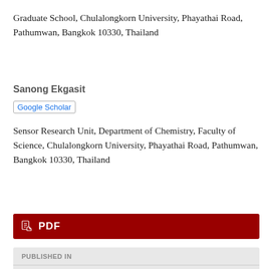Graduate School, Chulalongkorn University, Phayathai Road, Pathumwan, Bangkok 10330, Thailand
Sanong Ekgasit
Google Scholar
Sensor Research Unit, Department of Chemistry, Faculty of Science, Chulalongkorn University, Phayathai Road, Pathumwan, Bangkok 10330, Thailand
PDF
PUBLISHED IN
Vol 25 No 3, Mar 31, 2021
HOW TO CITE